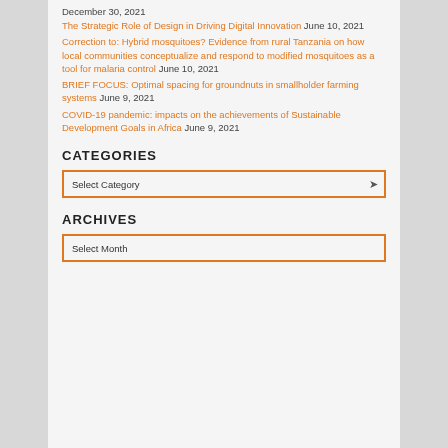December 30, 2021
The Strategic Role of Design in Driving Digital Innovation June 10, 2021
Correction to: Hybrid mosquitoes? Evidence from rural Tanzania on how local communities conceptualize and respond to modified mosquitoes as a tool for malaria control June 10, 2021
BRIEF FOCUS: Optimal spacing for groundnuts in smallholder farming systems June 9, 2021
COVID-19 pandemic: impacts on the achievements of Sustainable Development Goals in Africa June 9, 2021
CATEGORIES
Select Category
ARCHIVES